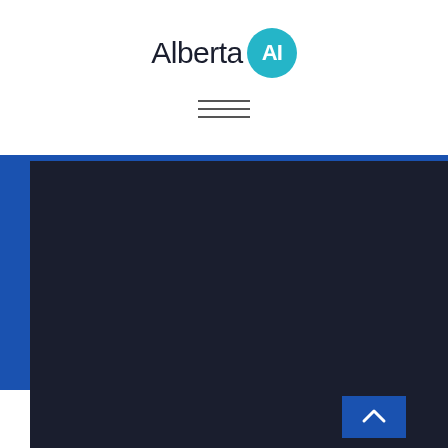[Figure (logo): Alberta AI logo: text 'Alberta' in dark sans-serif with a teal circle containing white 'AI' letters]
[Figure (other): Hamburger menu icon — three horizontal lines]
[Figure (screenshot): Dark navy background area with a blue left vertical sidebar and blue top horizontal strip — website navigation/content area]